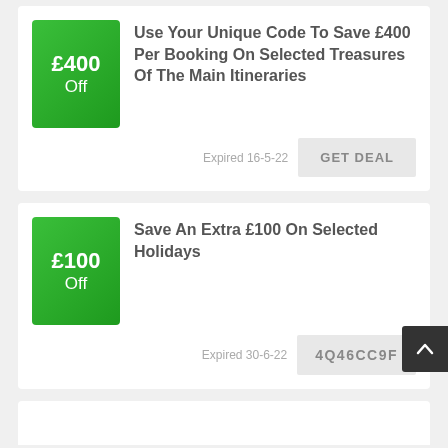£400 Off
Use Your Unique Code To Save £400 Per Booking On Selected Treasures Of The Main Itineraries
Expired 16-5-22
GET DEAL
£100 Off
Save An Extra £100 On Selected Holidays
Expired 30-6-22
4Q46CC9F